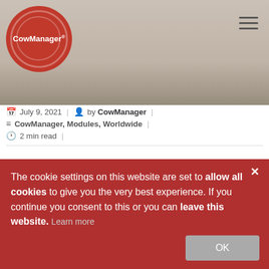[Figure (photo): Header image of a cow, partially visible, with CowManager logo on the left and hamburger menu icon on the right]
July 9, 2021 | by CowManager | CowManager, Modules, Worldwide | 2 min read |
He has lived and worked on large dairies in The Netherlands, Germany, and the USA. "Nearly 80 percent of disease inci... happen during the transition period (f...
The cookie settings on this website are set to allow all cookies to give you the very best experience. If you continue you consent to this or you can leave this website. Learn more